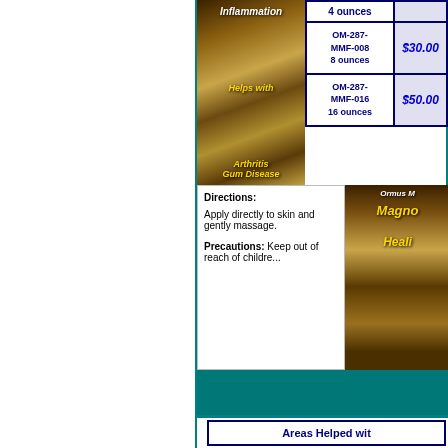[Figure (photo): Product image showing herbs/mushrooms with text overlay: Inflammation, Helps with, Arthritis, Gum Disease in yellow italic text on brown background]
| Product | Size/SKU | Price |
| --- | --- | --- |
|  | 4 ounces |  |
|  | OM-287-MMF-008
8 ounces | $30.00 |
|  | OM-287-MMF-016
16 ounces | $50.00 |
Directions:
Apply directly to skin and gently massage.

Precautions: Keep out of reach of children.
[Figure (photo): Ormus product image showing bowl of herbs/mushrooms with text: Ormus, Magno[..], Heali[..] in yellow text]
Areas Helped wit[h]